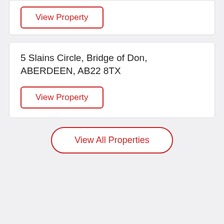View Property
5 Slains Circle, Bridge of Don, ABERDEEN, AB22 8TX
View Property
View All Properties